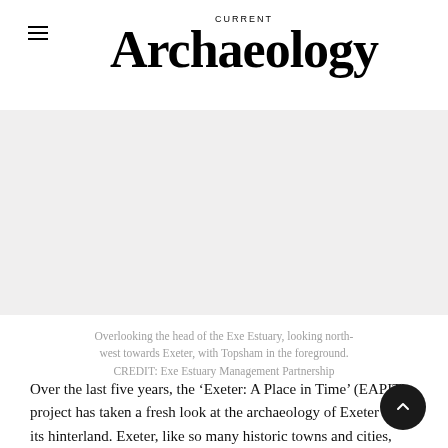CURRENT Archaeology
[Figure (photo): Aerial photograph overlooking the head of the Exe Estuary, looking north-west towards Exeter, with Topsham in the foreground.]
Overlooking the head of the Exe Estuary, looking north-west towards Exeter, with Topsham in the foreground. CREDIT: Exe Estuary Management Partnership
Over the last five years, the ‘Exeter: A Place in Time’ (EAPIT) project has taken a fresh look at the archaeology of Exeter and its hinterland. Exeter, like so many historic towns and cities, saw